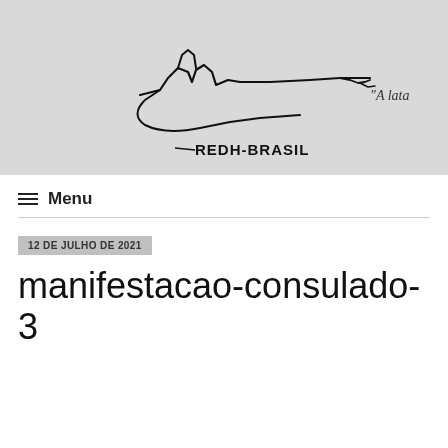[Figure (logo): REDH-BRASIL logo with a stylized signature/drawing on a light gray background and script text 'A lata' partially visible at top right]
≡  Menu
12 DE JULHO DE 2021
manifestacao-consulado-3